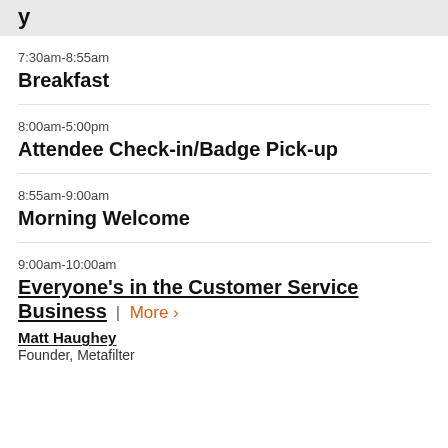y
7:30am-8:55am
Breakfast
8:00am-5:00pm
Attendee Check-in/Badge Pick-up
8:55am-9:00am
Morning Welcome
9:00am-10:00am
Everyone's in the Customer Service Business | More ›
Matt Haughey
Founder, Metafilter